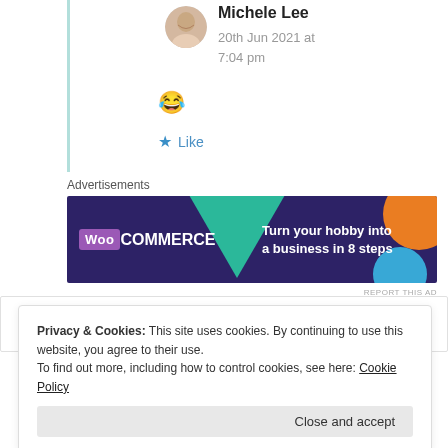Michele Lee
20th Jun 2021 at 7:04 pm
😂
★ Like
Advertisements
[Figure (other): WooCommerce advertisement banner: dark purple background with teal triangle, orange circle, blue circle. Text: WooCommerce - Turn your hobby into a business in 8 steps. REPORT THIS AD link at bottom right.]
Privacy & Cookies: This site uses cookies. By continuing to use this website, you agree to their use. To find out more, including how to control cookies, see here: Cookie Policy
Close and accept